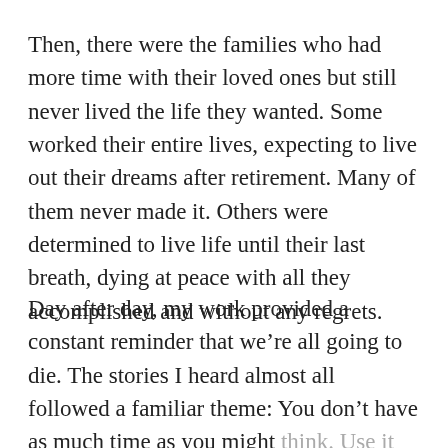Then, there were the families who had more time with their loved ones but still never lived the life they wanted. Some worked their entire lives, expecting to live out their dreams after retirement. Many of them never made it. Others were determined to live life until their last breath, dying at peace with all they accomplished and without any regrets.
Day after day, my work provided a constant reminder that we're all going to die. The stories I heard almost all followed a familiar theme: You don't have as much time as you might think. Use it wisely.